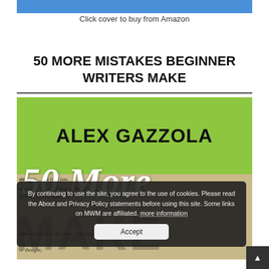[Figure (other): Blue bar at top representing book cover header strip]
Click cover to buy from Amazon
50 MORE MISTAKES BEGINNER WRITERS MAKE
[Figure (illustration): Book cover for '50 More Mistakes Beginner Writers Make' by Alex Gazzola. Green top band with author name in bold black letters. Lower portion shows a dictionary page background with large white italic '50 More' overlaid. The word MAKE appears in large dark letters at the bottom.]
By continuing to use the site, you agree to the use of cookies. Please read the About and Privacy Policy statements before using this site. Some links on MWM are affiliated. more information
Accept